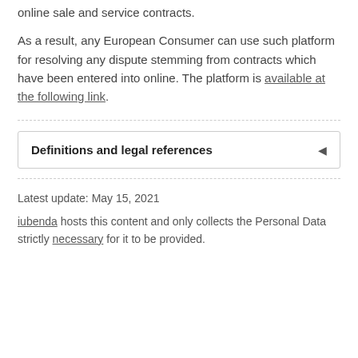online sale and service contracts.
As a result, any European Consumer can use such platform for resolving any dispute stemming from contracts which have been entered into online. The platform is available at the following link.
Definitions and legal references
Latest update: May 15, 2021
iubenda hosts this content and only collects the Personal Data strictly necessary for it to be provided.